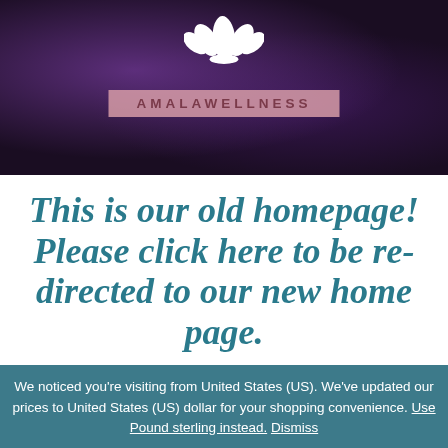[Figure (logo): Amala Wellness logo: lotus flower icon above a pink/mauve rectangular label reading AMALAWELLNESS on a dark purple starry night sky background]
This is our old homepage! Please click here to be redirected to our new home page.
Yoga, Chair Yoga,
We noticed you're visiting from United States (US). We've updated our prices to United States (US) dollar for your shopping convenience. Use Pound sterling instead. Dismiss